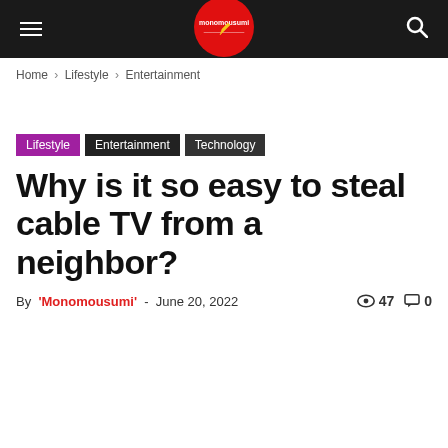monomousumi — navigation header with hamburger menu, logo, and search icon
Home › Lifestyle › Entertainment
Lifestyle
Entertainment
Technology
Why is it so easy to steal cable TV from a neighbor?
By 'Monomousumi' - June 20, 2022  👁 47  💬 0